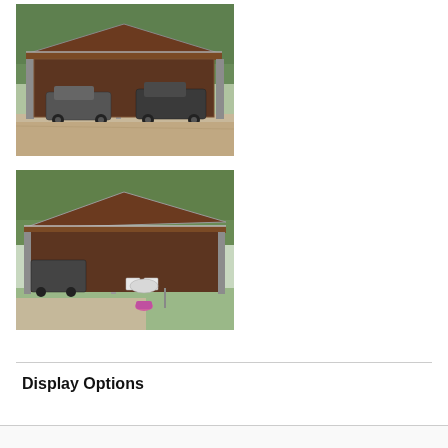[Figure (photo): Outdoor metal carport with brown roof panels, open sides, sheltering two pickup trucks on a gravel/dirt lot. Trees visible in background.]
[Figure (photo): Outdoor metal carport with brown siding and sloped roof, open front, vehicles parked underneath. Outdoor furniture (white chairs and table) and a pink planter visible in the foreground. Trees in background.]
Display Options